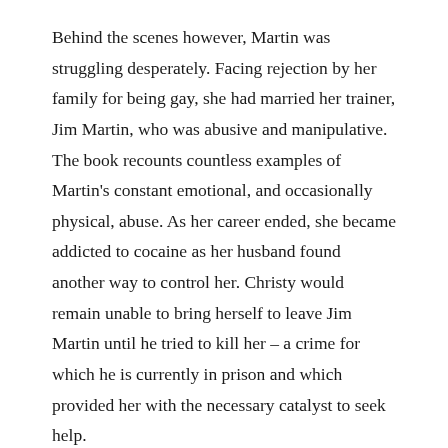Behind the scenes however, Martin was struggling desperately. Facing rejection by her family for being gay, she had married her trainer, Jim Martin, who was abusive and manipulative. The book recounts countless examples of Martin's constant emotional, and occasionally physical, abuse. As her career ended, she became addicted to cocaine as her husband found another way to control her. Christy would remain unable to bring herself to leave Jim Martin until he tried to kill her – a crime for which he is currently in prison and which provided her with the necessary catalyst to seek help.
As well as recounting her remarkable career, Fighting for Survival is Christy Martin's chance to seize control of her own life narrative. She says the book to end is